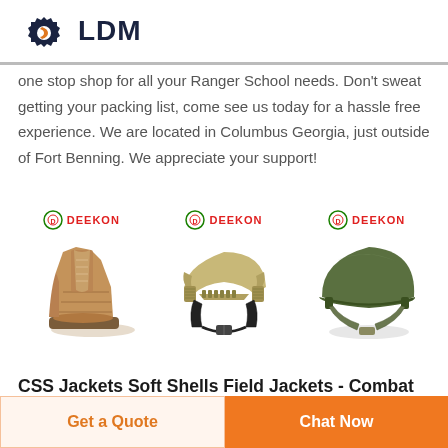LDM
one stop shop for all your Ranger School needs. Don't sweat getting your packing list, come see us today for a hassle free experience. We are located in Columbus Georgia, just outside of Fort Benning. We appreciate your support!
[Figure (photo): Three product images from DEEKON brand: a tan military boot, a tan tactical helmet with chin strap system, and an olive green military helmet.]
CSS Jackets Soft Shells Field Jackets - Combat Sport Supply
Security Polar Fleece Jacket Rotheo Diamond Nylon Quilted Flight Jacket – Navy
Get a Quote
Chat Now